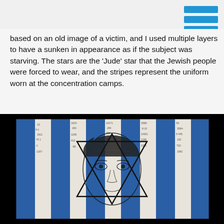based on an old image of a victim, and I used multiple layers to have a sunken in appearance as if the subject was starving. The stars are the 'Jude' star that the Jewish people were forced to wear, and the stripes represent the uniform worn at the concentration camps.
[Figure (illustration): Artwork depicting a gaunt face overlaid with a Star of David outline and blue and white vertical stripes (representing concentration camp uniform). Numbers are written across the white stripes. The background is black.]